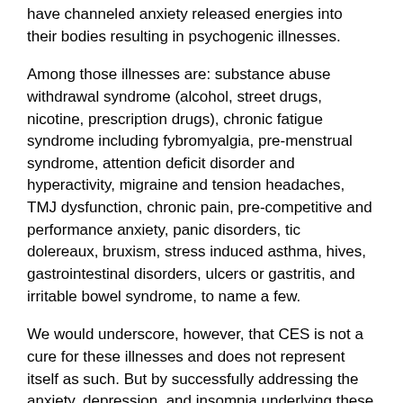have channeled anxiety released energies into their bodies resulting in psychogenic illnesses.
Among those illnesses are: substance abuse withdrawal syndrome (alcohol, street drugs, nicotine, prescription drugs), chronic fatigue syndrome including fybromyalgia, pre-menstrual syndrome, attention deficit disorder and hyperactivity, migraine and tension headaches, TMJ dysfunction, chronic pain, pre-competitive and performance anxiety, panic disorders, tic dolereaux, bruxism, stress induced asthma, hives, gastrointestinal disorders, ulcers or gastritis, and irritable bowel syndrome, to name a few.
We would underscore, however, that CES is not a cure for these illnesses and does not represent itself as such. But by successfully addressing the anxiety, depression, and insomnia underlying these disorders, it can play a major role in the healing process.
Q. Is CES then only for the “sick” and the “stressed